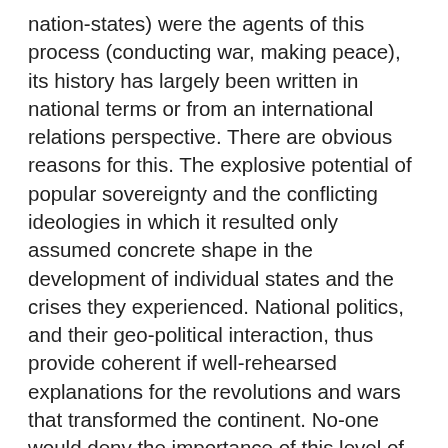nation-states) were the agents of this process (conducting war, making peace), its history has largely been written in national terms or from an international relations perspective. There are obvious reasons for this. The explosive potential of popular sovereignty and the conflicting ideologies in which it resulted only assumed concrete shape in the development of individual states and the crises they experienced. National politics, and their geo-political interaction, thus provide coherent if well-rehearsed explanations for the revolutions and wars that transformed the continent. No-one would deny the importance of this level of analysis. However, some themes have emerged which address the European dimension of conflict differently, linking it with the pre-history that I have just mentioned. These themes have been particularly evident in the cultural history of the First World War which has marked the revival of interest in that field in the last decade.10 They